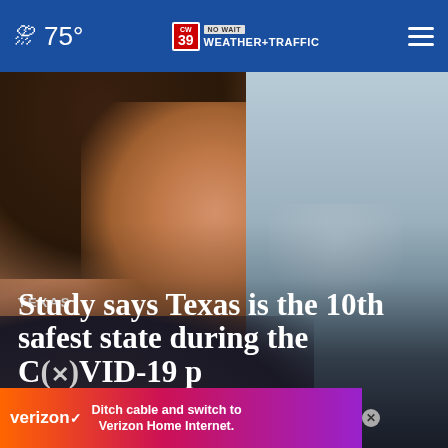75° CW39 NO WAIT WEATHER+TRAFFIC
[Figure (photo): A woman smiling with a face mask pulled down, wearing a dark shirt, photographed in portrait style against a blurred background]
TEXAS
Study says Texas is the 10th safest state during the COVID-19 p
[Figure (infographic): Verizon advertisement banner: Ditch cable and switch to Verizon Home Internet.]